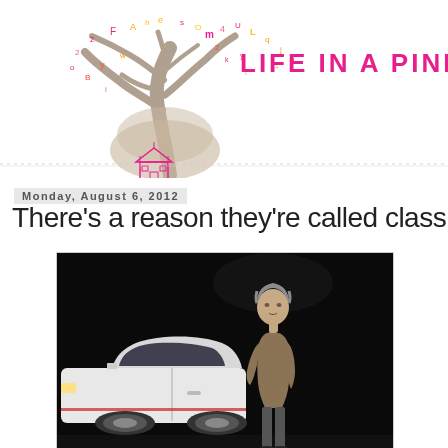[Figure (illustration): Blog header for 'Life in a Pink Fibro' showing a decorative tree made of letters and characters with colorful autumn-like leaves in pink, yellow, orange and red scattered around it, along with a small pink house shape at the base center. The blog title 'LIFE IN A PINK FIBRO' appears in large pink letters to the right of the tree.]
Monday, August 6, 2012
There's a reason they're called classics
[Figure (photo): A man with grey hair wearing a tan/khaki blazer standing next to a white car against a dark/black background, on a stage setting.]